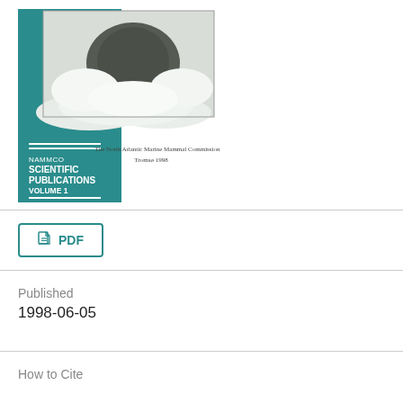[Figure (photo): Book cover of NAMMCO Scientific Publications Volume 1, featuring a dark animal (seal pup) on snow/ice background, with teal spine showing title text. Publisher text reads: The North Atlantic Marine Mammal Commission, Tromsø 1998.]
PDF
Published
1998-06-05
How to Cite